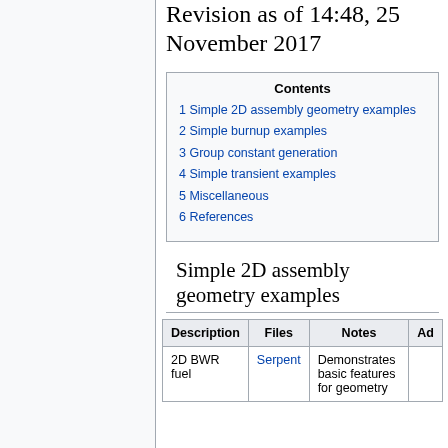Revision as of 14:48, 25 November 2017
| 1 Simple 2D assembly geometry examples |
| 2 Simple burnup examples |
| 3 Group constant generation |
| 4 Simple transient examples |
| 5 Miscellaneous |
| 6 References |
Simple 2D assembly geometry examples
| Description | Files | Notes | Ad… |
| --- | --- | --- | --- |
| 2D BWR fuel | Serpent | Demonstrates basic features for geometry… |  |